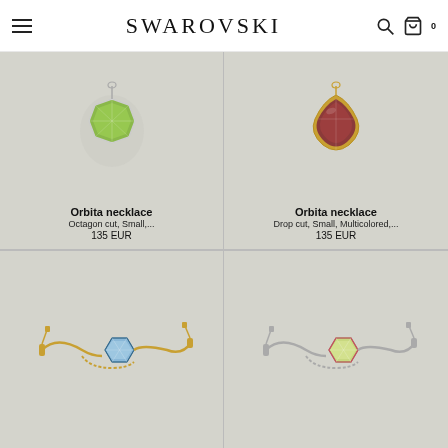SWAROVSKI
[Figure (photo): Orbita necklace with green octagon cut stone on light grey background]
Orbita necklace
Octagon cut, Small,...
135 EUR
[Figure (photo): Orbita necklace with dark red/brown drop cut stone on light grey background]
Orbita necklace
Drop cut, Small, Multicolored,...
135 EUR
[Figure (photo): Orbita bracelet with light blue octagon cut stone on gold-tone chain on light grey background]
[Figure (photo): Orbita bracelet with light green octagon cut stone on silver-tone chain on light grey background]